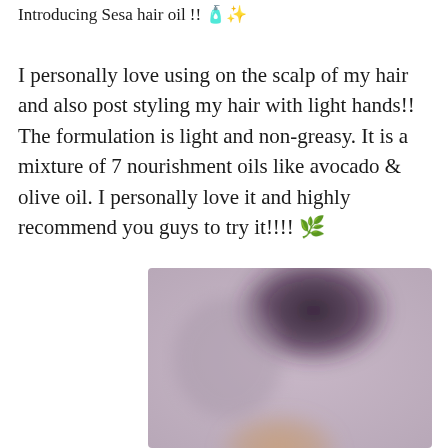Introducing Sesa hair oil !! 🧴✨
I personally love using on the scalp of my hair and also post styling my hair with light hands!!
The formulation is light and non-greasy. It is a mixture of 7 nourishment oils like avocado & olive oil. I personally love it and highly recommend you guys to try it!!!! 🌿
[Figure (photo): A blurred close-up photo of a person's hair, showing dark hair against a muted purple/mauve and beige background.]